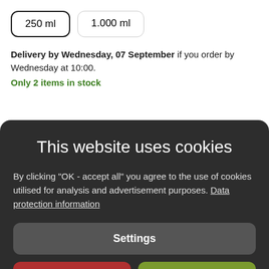250 ml
1.000 ml
Delivery by Wednesday, 07 September if you order by Wednesday at 10:00.
Only 2 items in stock
This website uses cookies
By clicking "OK - accept all" you agree to the use of cookies utilised for analysis and advertisement purposes. Data protection information
Settings
Reject all
Accept all